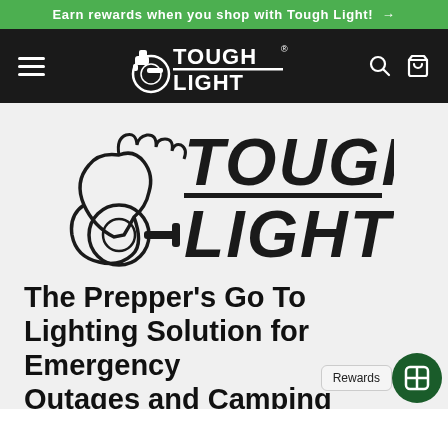Earn rewards when you shop with Tough Light! →
[Figure (logo): Tough Light logo in white on dark nav bar with hamburger menu, search icon, and cart icon]
[Figure (logo): Large Tough Light logo with flexing arm holding barbell graphic and bold TOUGH LIGHT text on light gray background]
The Prepper's Go To Lighting Solution for Emergency Outages and Camping